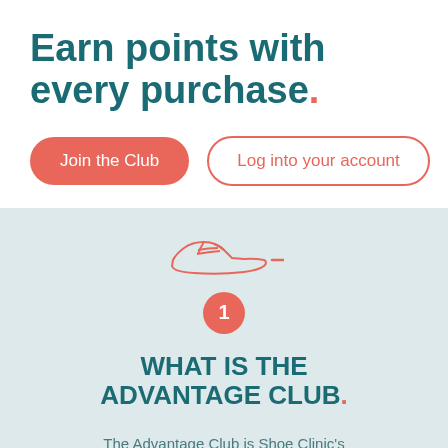Earn points with every purchase.
Join the Club
Log into your account
[Figure (illustration): Outline illustration of a running shoe (sneaker) in coral/salmon color with a short dash line beside it, centered on a light blue-grey background.]
1
WHAT IS THE ADVANTAGE CLUB.
The Advantage Club is Shoe Clinic's loyalty rewards program. When you shop at Shoe Clinic, in-store or online, you can join for free. The program is all